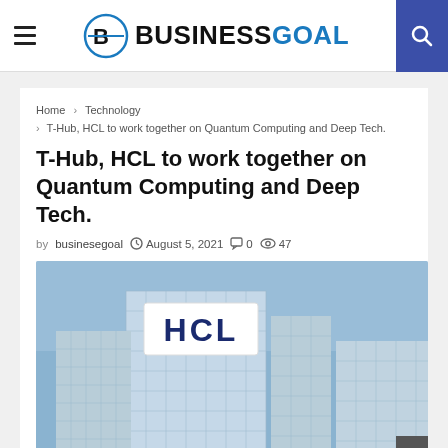BUSINESS GOAL
Home > Technology > T-Hub, HCL to work together on Quantum Computing and Deep Tech.
T-Hub, HCL to work together on Quantum Computing and Deep Tech.
by businesegoal  August 5, 2021  0  47
[Figure (photo): HCL Technologies building exterior with HCL signage on a glass office tower against a blue sky]